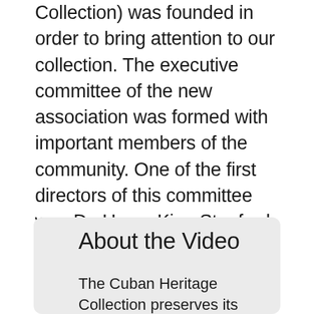Collection) was founded in order to bring attention to our collection. The executive committee of the new association was formed with important members of the community. One of the first directors of this committee was Dr. Henry King Stanford, president emeritus of the University of Miami, and Elena Diaz-Verson Amos, graduate of UM and president of the John B. Amos Foundation.
About the Video
The Cuban Heritage Collection preserves its treasures and carries out its programs in